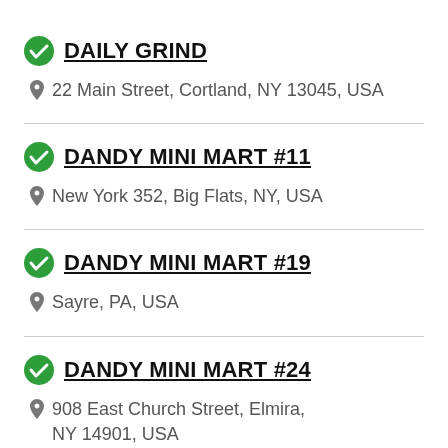DAILY GRIND — 22 Main Street, Cortland, NY 13045, USA
DANDY MINI MART #11 — New York 352, Big Flats, NY, USA
DANDY MINI MART #19 — Sayre, PA, USA
DANDY MINI MART #24 — 908 East Church Street, Elmira, NY 14901, USA